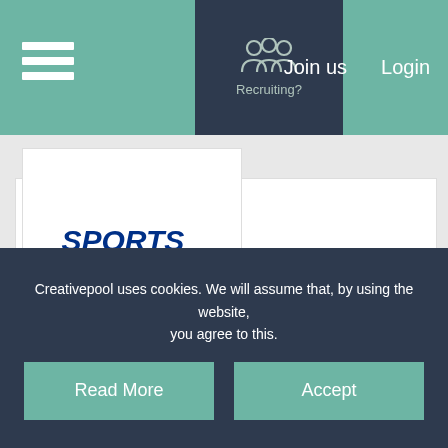Recruiting? | Join us | Login
[Figure (logo): SportsDirect.com logo with blue SPORTS and red DIRECT text, italic bold]
Senior Photographer
This job listing has expired
Job
Creativepool uses cookies. We will assume that, by using the website, you agree to this.
Read More
Accept